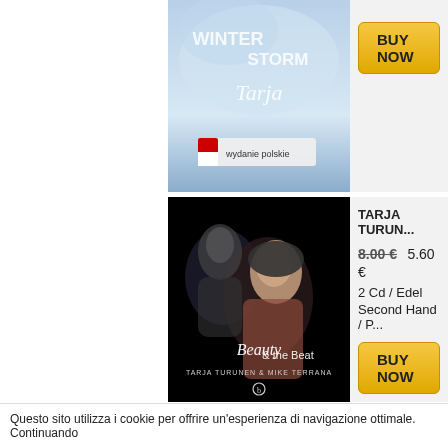[Figure (photo): Partial album cover (top row, cut off) - Tarja winter storm album with 'wydanie polskie' sticker]
BUY NOW
[Figure (photo): Album cover: Beauty & the Beat - Tarja Turunen & Mike Terrana, dark background with two faces]
TARJA TURUN...
8.00 €  5.60 €
2 Cd / Edel
Second Hand / P...
BUY NOW
[Figure (photo): Third album row (partial), no image visible]
TAX THE HEA...
8.00 €
Nuclear Blast
Second Hand / E...
Questo sito utilizza i cookie per offrire un'esperienza di navigazione ottimale. Continuando